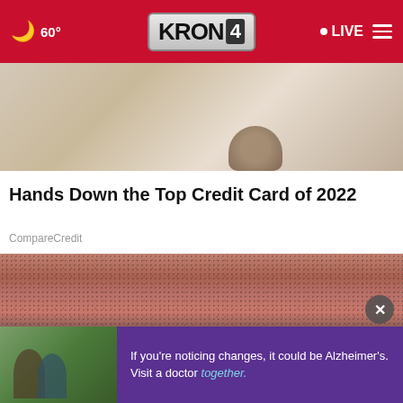60° KRON 4 LIVE
[Figure (photo): Person in white shirt holding a wooden watch]
Hands Down the Top Credit Card of 2022
CompareCredit
[Figure (photo): Close-up of a man's stubbled chin and mouth with white teeth visible at the bottom]
[Figure (photo): Advertisement: Two people standing together outdoors. Text reads: If you're noticing changes, it could be Alzheimer's. Visit a doctor together.]